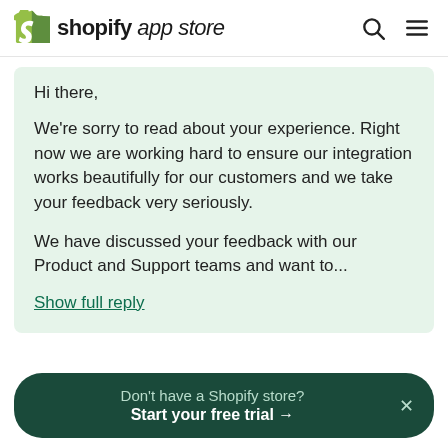shopify app store
Hi there,

We're sorry to read about your experience. Right now we are working hard to ensure our integration works beautifully for our customers and we take your feedback very seriously.

We have discussed your feedback with our Product and Support teams and want to...
Show full reply
Don't have a Shopify store? Start your free trial →